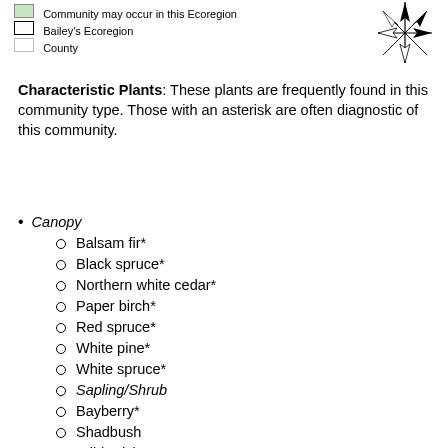[Figure (other): Map legend showing: green filled box = Community may occur in this Ecoregion, black outline box = Bailey's Ecoregion, white/empty box = County; and a compass rose (north star) in upper right]
Characteristic Plants: These plants are frequently found in this community type. Those with an asterisk are often diagnostic of this community.
Canopy
Balsam fir*
Black spruce*
Northern white cedar*
Paper birch*
Red spruce*
White pine*
White spruce*
Sapling/Shrub
Bayberry*
Shadbush
Wild-raisin*
Dwarf Shrub
Black huckleberry*